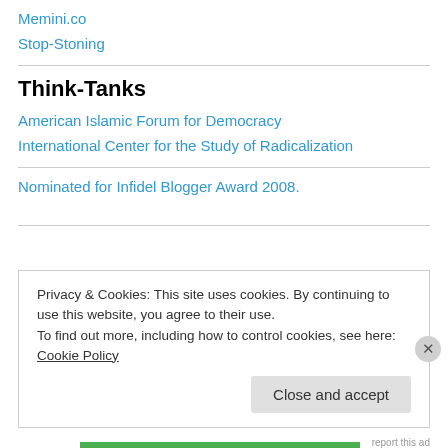Memini.co
Stop-Stoning
Think-Tanks
American Islamic Forum for Democracy
International Center for the Study of Radicalization
Nominated for Infidel Blogger Award 2008.
Privacy & Cookies: This site uses cookies. By continuing to use this website, you agree to their use.
To find out more, including how to control cookies, see here: Cookie Policy
Close and accept